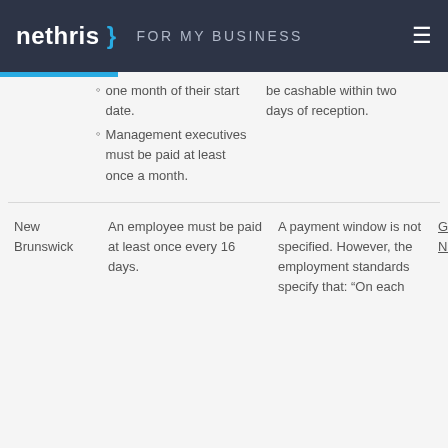nethris } FOR MY BUSINESS
one month of their start date.
Management executives must be paid at least once a month.
be cashable within two days of reception.
|  | Frequency | Payment Window | Source |
| --- | --- | --- | --- |
| New Brunswick | An employee must be paid at least once every 16 days. | A payment window is not specified. However, the employment standards specify that: "On each | Government of New Brunswick |